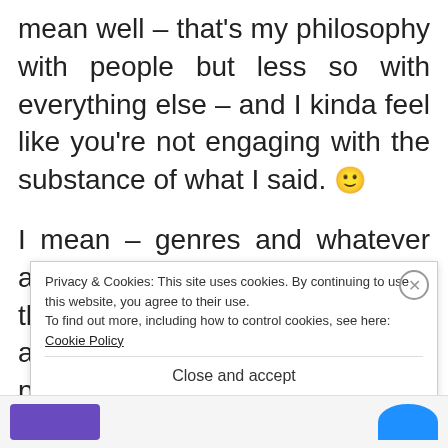mean well – that's my philosophy with people but less so with everything else – and I kinda feel like you're not engaging with the substance of what I said. 🙂
I mean – genres and whatever all have different biases. And I think it's important and useful and interesting to get into and pick apart what those biases may be. One of the main tricks pulled by t... e...
Privacy & Cookies: This site uses cookies. By continuing to use this website, you agree to their use.
To find out more, including how to control cookies, see here: Cookie Policy
Close and accept